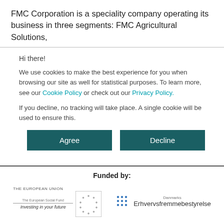FMC Corporation is a speciality company operating its business in three segments: FMC Agricultural Solutions,
Hi there!
We use cookies to make the best experience for you when browsing our site as well for statistical purposes. To learn more, see our Cookie Policy or check out our Privacy Policy.
If you decline, no tracking will take place. A single cookie will be used to ensure this.
Agree | Decline (buttons)
Funded by:
[Figure (logo): European Union - The European Social Fund logo: 'THE EUROPEAN UNION', circle of stars, 'Investing in your future']
[Figure (logo): Danmarks Erhvervsfremmebestyrelse logo with blue dot grid icon]